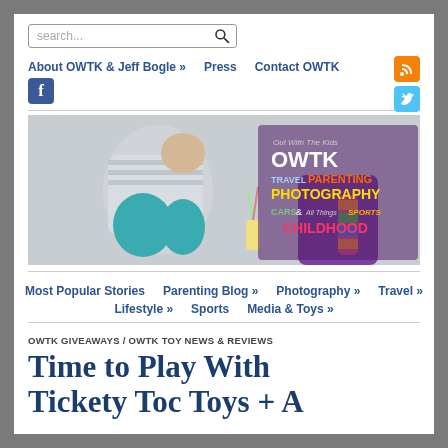search...
About OWTK & Jeff Bogle »   Press   Contact OWTK
[Figure (photo): Two children sitting outdoors with drinks; OWTK logo and text overlay on right side: Out With The Kids OWTK TRAVEL PARENTING PHOTOGRAPHY CARS & All Things SPORTS CHILDHOOD]
Most Popular Stories   Parenting Blog »   Photography »   Travel »   Lifestyle »   Sports   Media & Toys »
OWTK GIVEAWAYS / OWTK TOY NEWS & REVIEWS
Time to Play With Tickety Toc Toys + A